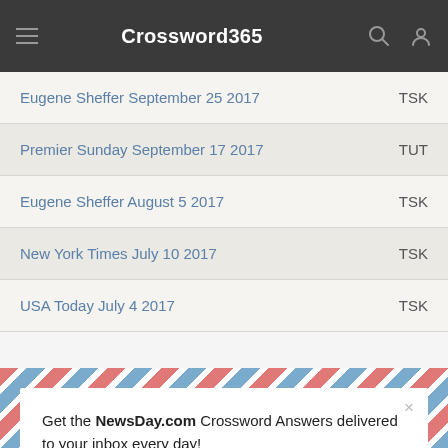Crossword365
Eugene Sheffer September 25 2017 — TSK
Premier Sunday September 17 2017 — TUT
Eugene Sheffer August 5 2017 — TSK
New York Times July 10 2017 — TSK
USA Today July 4 2017 — TSK
Get the NewsDay.com Crossword Answers delivered to your inbox every day!